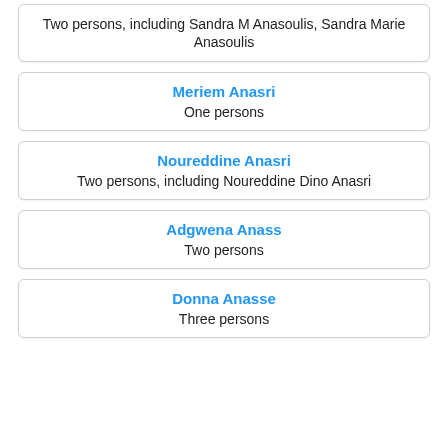Two persons, including Sandra M Anasoulis, Sandra Marie Anasoulis
Meriem Anasri
One persons
Noureddine Anasri
Two persons, including Noureddine Dino Anasri
Adgwena Anass
Two persons
Donna Anasse
Three persons